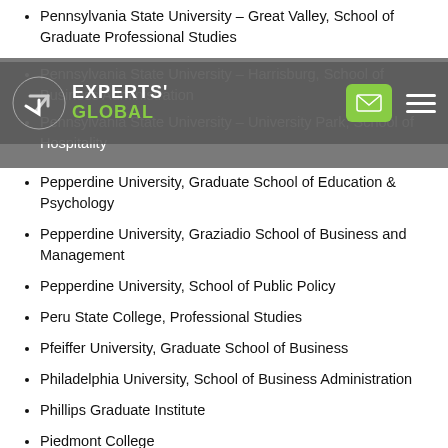Pennsylvania State University – Great Valley, School of Graduate Professional Studies
Pennsylvania State University – Harrisburg, School of Business Administration
Pennsylvania State University – University Park, School of Hospitality
Pepperdine University, Graduate School of Education & Psychology
Pepperdine University, Graziadio School of Business and Management
Pepperdine University, School of Public Policy
Peru State College, Professional Studies
Pfeiffer University, Graduate School of Business
Philadelphia University, School of Business Administration
Phillips Graduate Institute
Piedmont College
Pinchot University
Pittsburg State University, Gladys A. Kelce School of Business